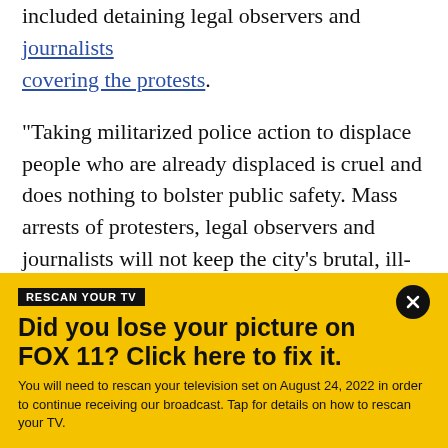included detaining legal observers and journalists covering the protests.
"Taking militarized police action to displace people who are already displaced is cruel and does nothing to bolster public safety. Mass arrests of protesters, legal observers and journalists will not keep the city's brutal, ill-conceived actions from being known. The city leaders who approved this approach should be held accountable," the ACLU said after the protests.
The police response also prompted the City Council
[Figure (infographic): Yellow banner advertisement. Label reads 'RESCAN YOUR TV'. Headline: 'Did you lose your picture on FOX 11? Click here to fix it.' Body: 'You will need to rescan your television set on August 24, 2022 in order to continue receiving our broadcast. Tap for details on how to rescan your TV.' Close button (X) in top right corner.]